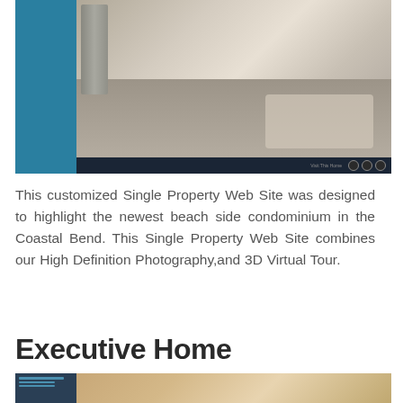[Figure (screenshot): Screenshot of a Single Property Web Site showing a kitchen/dining area photo with a teal sidebar on the left, a dark navigation bar at the bottom with social/share icons]
This customized Single Property Web Site was designed to highlight the newest beach side condominium in the Coastal Bend. This Single Property Web Site combines our High Definition Photography,and 3D Virtual Tour.
Executive Home
[Figure (screenshot): Partial screenshot of an Executive Home property web page with a dark sidebar and wood-toned interior photo]